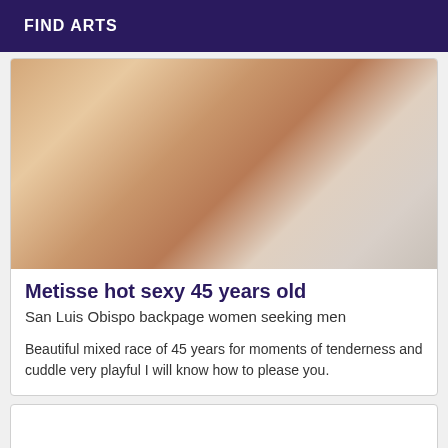FIND ARTS
[Figure (photo): Close-up photo showing skin tones and white bedding background]
Metisse hot sexy 45 years old
San Luis Obispo backpage women seeking men
Beautiful mixed race of 45 years for moments of tenderness and cuddle very playful I will know how to please you.